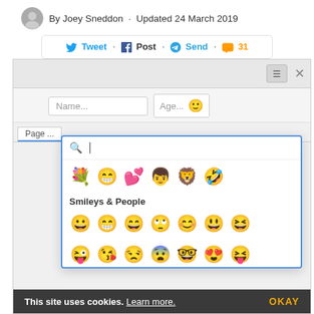By Joey Sneddon · Updated 24 March 2019
Tweet  Post  Send  31
[Figure (screenshot): A web browser with a form showing Name and Age fields, and an open emoji picker popup with a search bar and emoji grid showing Smileys & People category. A cookie consent bar is visible at the bottom.]